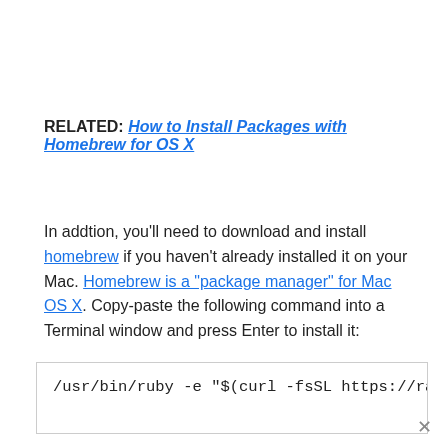RELATED: How to Install Packages with Homebrew for OS X
In addtion, you'll need to download and install homebrew if you haven't already installed it on your Mac. Homebrew is a "package manager" for Mac OS X. Copy-paste the following command into a Terminal window and press Enter to install it:
/usr/bin/ruby -e "$(curl -fsSL https://raw.gith